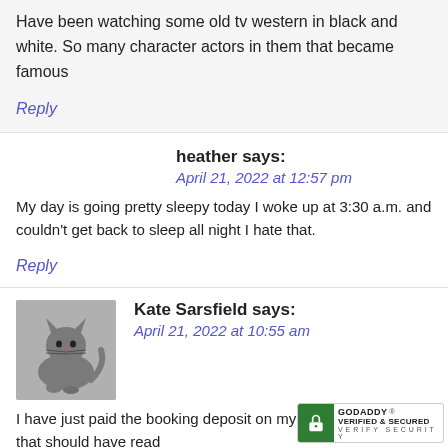Have been watching some old tv western in black and white. So many character actors in them that became famous
Reply
heather says:
April 21, 2022 at 12:57 pm
My day is going pretty sleepy today I woke up at 3:30 a.m. and couldn't get back to sleep all night I hate that.
Reply
Kate Sarsfield says:
April 21, 2022 at 10:55 am
I have just paid the booking deposit on my first home. Sorry, that should have read
[Figure (logo): GoDaddy Verified & Secured security badge]